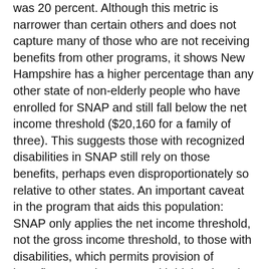was 20 percent. Although this metric is narrower than certain others and does not capture many of those who are not receiving benefits from other programs, it shows New Hampshire has a higher percentage than any other state of non-elderly people who have enrolled for SNAP and still fall below the net income threshold ($20,160 for a family of three). This suggests those with recognized disabilities in SNAP still rely on those benefits, perhaps even disproportionately so relative to other states. An important caveat in the program that aids this population: SNAP only applies the net income threshold, not the gross income threshold, to those with disabilities, which permits provision of benefits to continue even with higher housing and other costs.
New Hampshire's demographics may also spur additional use of SNAP. People with disabilities are more likely to be in poverty regardless of age, and disabilities are more prevalent among older adults. The New Hampshire Office of Energy and Planning projects New Hampshire, with a current total population of about 1.77 million, will have approximately 372,000...